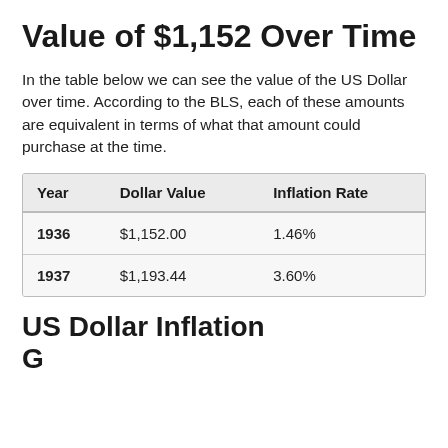Value of $1,152 Over Time
In the table below we can see the value of the US Dollar over time. According to the BLS, each of these amounts are equivalent in terms of what that amount could purchase at the time.
| Year | Dollar Value | Inflation Rate |
| --- | --- | --- |
| 1936 | $1,152.00 | 1.46% |
| 1937 | $1,193.44 | 3.60% |
US Dollar Inflation Graph